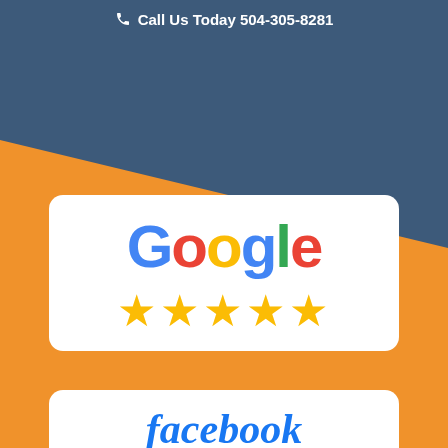Call Us Today 504-305-8281
[Figure (logo): Google five-star rating badge: Google logo in multicolor text with five gold stars below it, on a white rounded card]
[Figure (logo): Facebook logo in blue italic serif font on a white rounded card, partially visible]